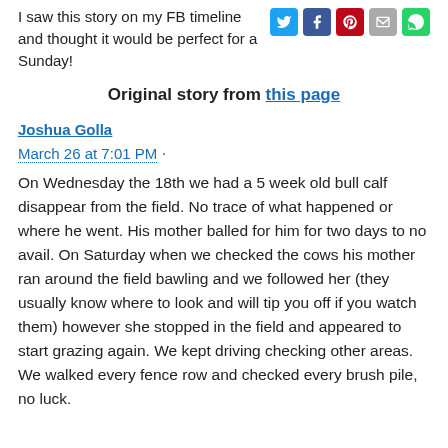I saw this story on my FB timeline and thought it would be perfect for a Sunday!
Original story from this page
Joshua Golla
March 26 at 7:01 PM ·
On Wednesday the 18th we had a 5 week old bull calf disappear from the field. No trace of what happened or where he went. His mother balled for him for two days to no avail. On Saturday when we checked the cows his mother ran around the field bawling and we followed her (they usually know where to look and will tip you off if you watch them) however she stopped in the field and appeared to start grazing again. We kept driving checking other areas. We walked every fence row and checked every brush pile, no luck.